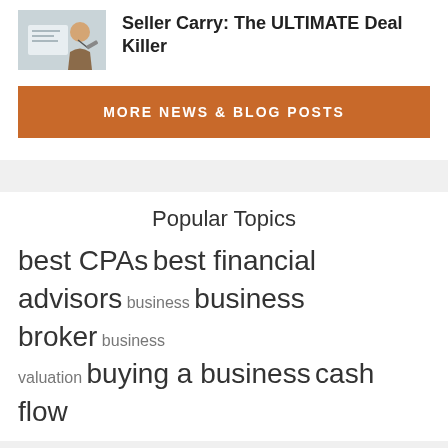[Figure (photo): Thumbnail image of person signing a document at a desk]
Seller Carry: The ULTIMATE Deal Killer
MORE NEWS & BLOG POSTS
Popular Topics
best CPAs best financial advisors business business broker business valuation buying a business cash flow